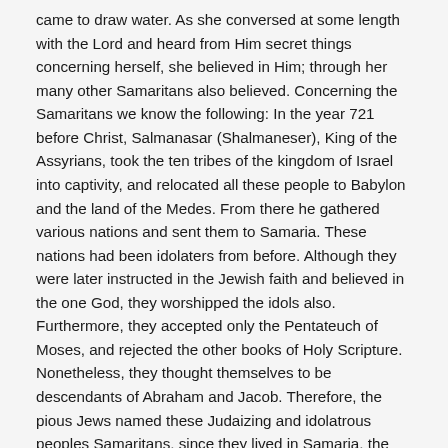came to draw water. As she conversed at some length with the Lord and heard from Him secret things concerning herself, she believed in Him; through her many other Samaritans also believed. Concerning the Samaritans we know the following: In the year 721 before Christ, Salmanasar (Shalmaneser), King of the Assyrians, took the ten tribes of the kingdom of Israel into captivity, and relocated all these people to Babylon and the land of the Medes. From there he gathered various nations and sent them to Samaria. These nations had been idolaters from before. Although they were later instructed in the Jewish faith and believed in the one God, they worshipped the idols also. Furthermore, they accepted only the Pentateuch of Moses, and rejected the other books of Holy Scripture. Nonetheless, they thought themselves to be descendants of Abraham and Jacob. Therefore, the pious Jews named these Judaizing and idolatrous peoples Samaritans, since they lived in Samaria, the former leading city of the Israelites, as well as in the other towns thereabout. The Jews rejected them as heathen and foreigners, and had no communion with them at all, as the Samaritan woman observed, “the Jews have no dealings with the Samaritans” (John 4:9). Therefore, the name Samaritan is used derisively many